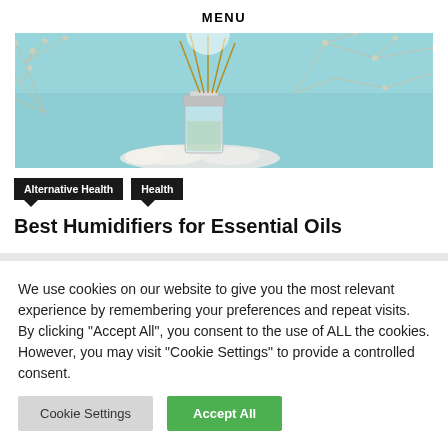MENU
[Figure (photo): A reed diffuser with bamboo sticks in a glass bottle, surrounded by dried flowers and white stones on a light teal background.]
Alternative Health   Health
Best Humidifiers for Essential Oils
We use cookies on our website to give you the most relevant experience by remembering your preferences and repeat visits. By clicking "Accept All", you consent to the use of ALL the cookies. However, you may visit "Cookie Settings" to provide a controlled consent.
Cookie Settings   Accept All